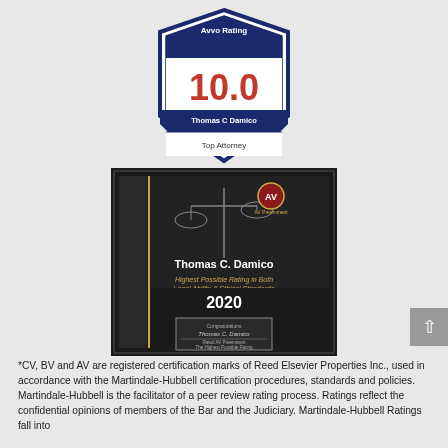[Figure (logo): Avvo Rating badge showing 10.0 rating for Thomas C Damico, Top Attorney. White shield shape with dark navy border, red 10.0 rating text, navy ribbon banner with name, white bottom with Top Attorney text.]
[Figure (photo): Martindale-Hubbell AV Preeminent rating plaque for Thomas C. Damico, 2020. Black plaque with gold vertical text 'Martindale-Hubbell' on left side, scales of justice image, AV logo, name 'Thomas C. Damico', text 'Highest Possible Rating in Both Legal Ability & Ethical Standards', year 2020, and a congratulatory plate at bottom.]
*CV, BV and AV are registered certification marks of Reed Elsevier Properties Inc., used in accordance with the Martindale-Hubbell certification procedures, standards and policies. Martindale-Hubbell is the facilitator of a peer review rating process. Ratings reflect the confidential opinions of members of the Bar and the Judiciary. Martindale-Hubbell Ratings fall into